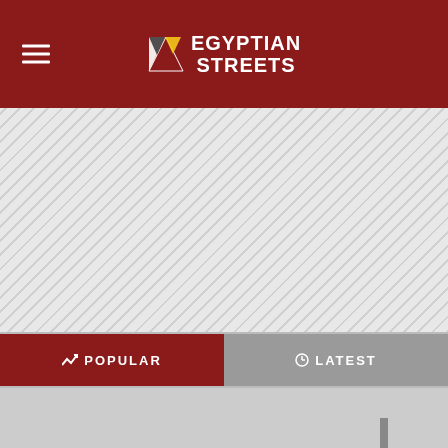Egyptian Streets
[Figure (other): Hatched grey advertisement banner placeholder]
POPULAR | LATEST tab navigation
[Figure (photo): Black and white vintage photo of a woman in a swimsuit on a beach]
Up To $110 Off Instantly on New Tires + $40 Off Alignments